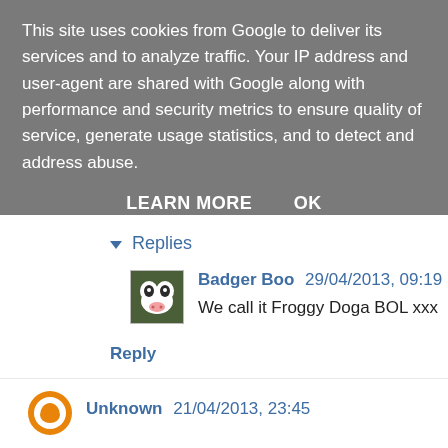This site uses cookies from Google to deliver its services and to analyze traffic. Your IP address and user-agent are shared with Google along with performance and security metrics to ensure quality of service, generate usage statistics, and to detect and address abuse.
LEARN MORE   OK
Replies
Badger Boo 29/04/2013, 09:19
We call it Froggy Doga BOL xxx
Reply
Unknown 21/04/2013, 23:45